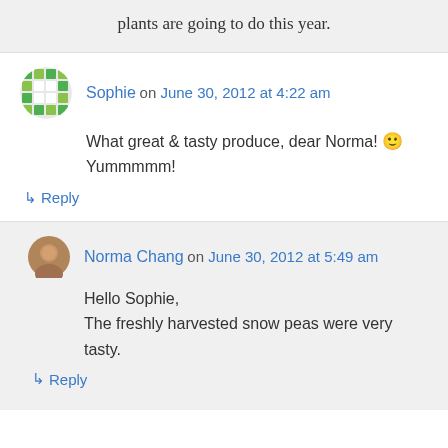plants are going to do this year.
Sophie on June 30, 2012 at 4:22 am
What great & tasty produce, dear Norma! 🙂 Yummmmm!
↳ Reply
Norma Chang on June 30, 2012 at 5:49 am
Hello Sophie,
The freshly harvested snow peas were very tasty.
↳ Reply